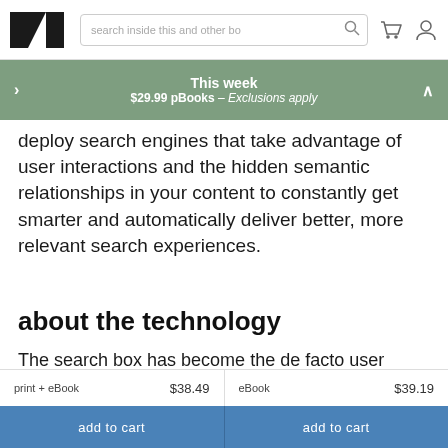search inside this and other bo
This week
$29.99 pBooks – Exclusions apply
deploy search engines that take advantage of user interactions and the hidden semantic relationships in your content to constantly get smarter and automatically deliver better, more relevant search experiences.
about the technology
The search box has become the de facto user interface
print + eBook   $38.49   eBook   $39.19
add to cart   add to cart